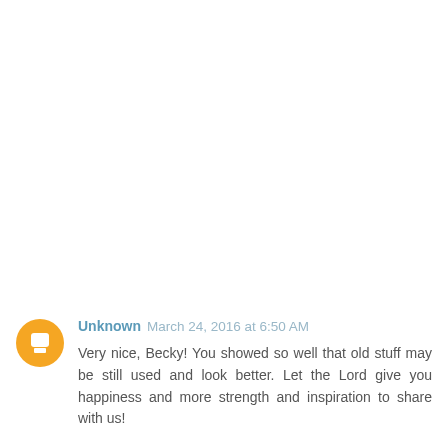Unknown March 24, 2016 at 6:50 AM
Very nice, Becky! You showed so well that old stuff may be still used and look better. Let the Lord give you happiness and more strength and inspiration to share with us!